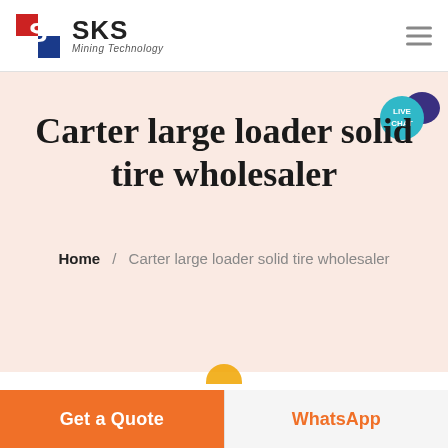SKS Mining Technology
Carter large loader solid tire wholesaler
Home / Carter large loader solid tire wholesaler
Get a Quote
WhatsApp